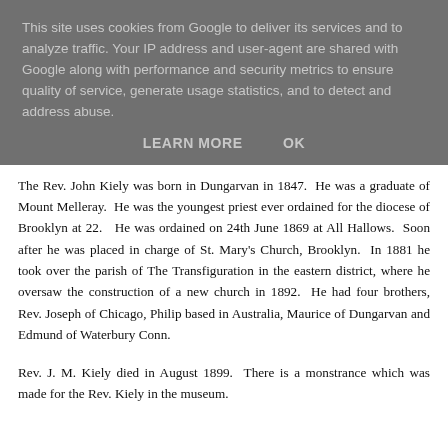This site uses cookies from Google to deliver its services and to analyze traffic. Your IP address and user-agent are shared with Google along with performance and security metrics to ensure quality of service, generate usage statistics, and to detect and address abuse.
LEARN MORE    OK
The Rev. John Kiely was born in Dungarvan in 1847. He was a graduate of Mount Melleray. He was the youngest priest ever ordained for the diocese of Brooklyn at 22. He was ordained on 24th June 1869 at All Hallows. Soon after he was placed in charge of St. Mary's Church, Brooklyn. In 1881 he took over the parish of The Transfiguration in the eastern district, where he oversaw the construction of a new church in 1892. He had four brothers, Rev. Joseph of Chicago, Philip based in Australia, Maurice of Dungarvan and Edmund of Waterbury Conn.
Rev. J. M. Kiely died in August 1899. There is a monstrance which was made for the Rev. Kiely in the museum.